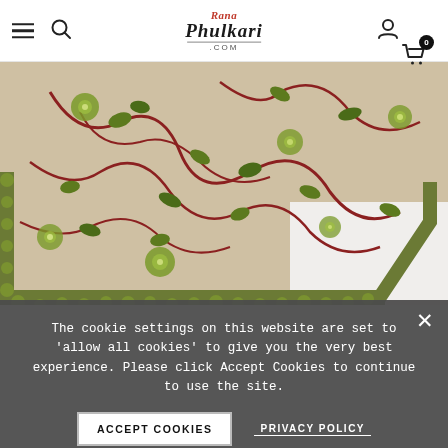Rana Phulkari .com — navigation bar with hamburger menu, search icon, logo, user icon, cart (0)
[Figure (photo): Close-up photograph of a cream/beige dupatta or fabric with green floral and vine embroidery (phulkari work), featuring red vine stems, dark green leaves, and green flowers with pom-pom border trim on a green border edge, laid flat on a white surface.]
The cookie settings on this website are set to 'allow all cookies' to give you the very best experience. Please click Accept Cookies to continue to use the site.
ACCEPT COOKIES
PRIVACY POLICY